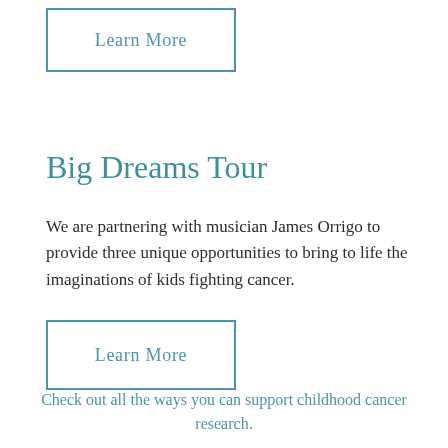Learn More
Big Dreams Tour
We are partnering with musician James Orrigo to provide three unique opportunities to bring to life the imaginations of kids fighting cancer.
Learn More
Check out all the ways you can support childhood cancer research.